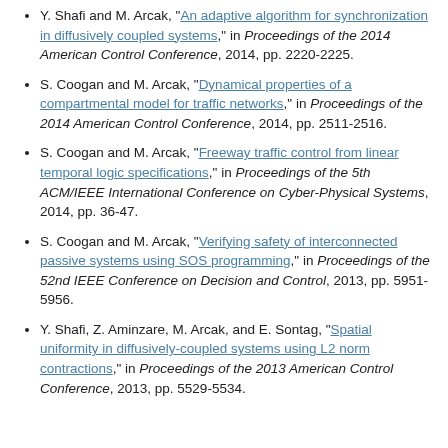Y. Shafi and M. Arcak, "An adaptive algorithm for synchronization in diffusively coupled systems," in Proceedings of the 2014 American Control Conference, 2014, pp. 2220-2225.
S. Coogan and M. Arcak, "Dynamical properties of a compartmental model for traffic networks," in Proceedings of the 2014 American Control Conference, 2014, pp. 2511-2516.
S. Coogan and M. Arcak, "Freeway traffic control from linear temporal logic specifications," in Proceedings of the 5th ACM/IEEE International Conference on Cyber-Physical Systems, 2014, pp. 36-47.
S. Coogan and M. Arcak, "Verifying safety of interconnected passive systems using SOS programming," in Proceedings of the 52nd IEEE Conference on Decision and Control, 2013, pp. 5951-5956.
Y. Shafi, Z. Aminzare, M. Arcak, and E. Sontag, "Spatial uniformity in diffusively-coupled systems using L2 norm contractions," in Proceedings of the 2013 American Control Conference, 2013, pp. 5529-5534.